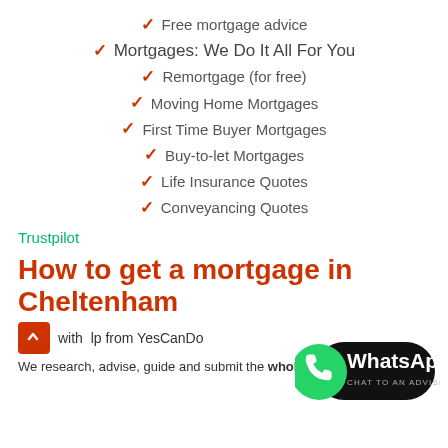Free mortgage advice
Mortgages: We Do It All For You
Remortgage (for free)
Moving Home Mortgages
First Time Buyer Mortgages
Buy-to-let Mortgages
Life Insurance Quotes
Conveyancing Quotes
Trustpilot
How to get a mortgage in Cheltenham
with help from YesCanDo
[Figure (logo): WhatsApp Chat to an Adviser button with green WhatsApp phone icon on black rounded background]
We research, advise, guide and submit the whole application for